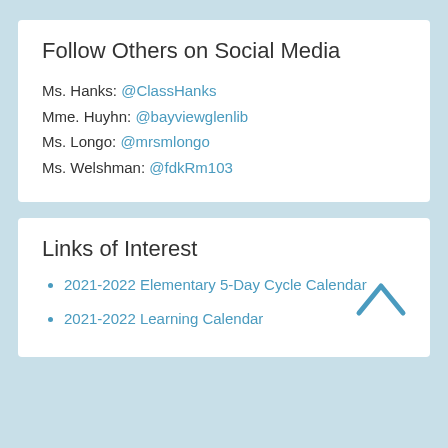Follow Others on Social Media
Ms. Hanks: @ClassHanks
Mme. Huyhn: @bayviewglenlib
Ms. Longo: @mrsmlongo
Ms. Welshman: @fdkRm103
Links of Interest
2021-2022 Elementary 5-Day Cycle Calendar
2021-2022 Learning Calendar